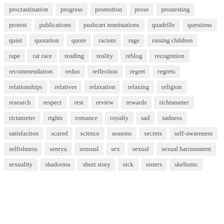procrastination
progress
promotion
prose
prostesting
protest
publications
pushcart nominations
quadrille
questions
quiet
quotation
quote
racism
rage
raising children
rape
rat race
reading
reality
reblog
recognition
recommendation
redux
reflection
regret
regrets
relationships
relatives
relaxation
relaxing
religion
research
respect
rest
review
rewards
richtameter
rictameter
rights
romance
royalty
sad
sadness
satisfaction
scared
science
seasons
secrets
self-awareness
selfishness
senryu
sensual
sex
sexual
sexual harrassment
sexuality
shadorma
short story
sick
sisters
skeltonic